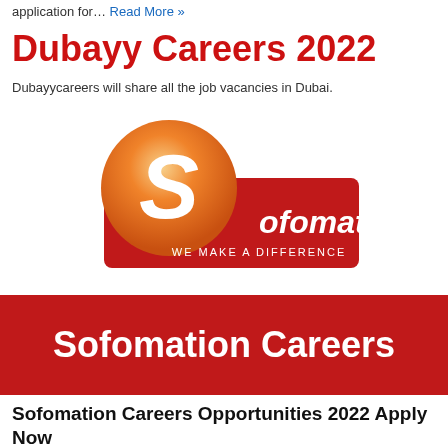application for… Read More »
Dubayy Careers 2022
Dubayycareers will share all the job vacancies in Dubai.
[Figure (logo): Sofomation logo — orange and white circular S emblem with red rectangular banner reading 'Sofomation WE MAKE A DIFFERENCE']
[Figure (infographic): Red banner with white bold text reading 'Sofomation Careers']
Sofomation Careers Opportunities 2022 Apply Now